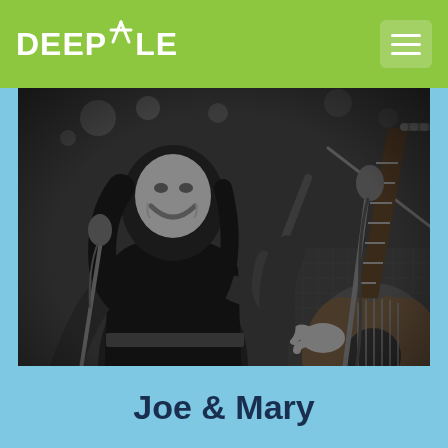DEEPDALE
[Figure (photo): Black and white concert photograph of two musicians performing. A woman with long curly hair is smiling and playing violin, dressed in black. A bearded man in a checked blazer is playing acoustic guitar. Microphone stands visible in the foreground.]
Joe & Mary